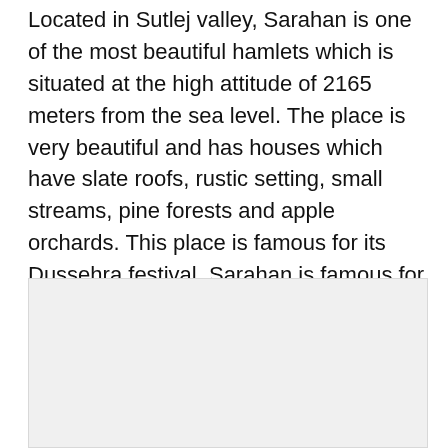Located in Sutlej valley, Sarahan is one of the most beautiful hamlets which is situated at the high attitude of 2165 meters from the sea level. The place is very beautiful and has houses which have slate roofs, rustic setting, small streams, pine forests and apple orchards. This place is famous for its Dussehra festival. Sarahan is famous for its ancient Bhimakali temple which is more than 800 yrs old and is one of the Shaktipeeths in the country. The other famous attractions are Bhaba valley and the bird park. The bird park is the home ground of Monal, which is state bird.
[Figure (photo): A light gray placeholder rectangle representing an image, positioned below the text block.]